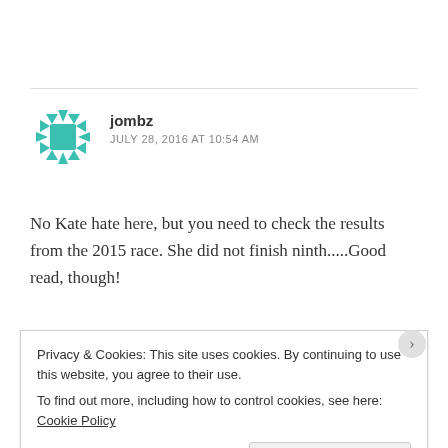[Figure (illustration): Teal/green geometric avatar icon for user jombz]
jombz
JULY 28, 2016 AT 10:54 AM
No Kate hate here, but you need to check the results from the 2015 race. She did not finish ninth.....Good read, though!
Like
Privacy & Cookies: This site uses cookies. By continuing to use this website, you agree to their use.
To find out more, including how to control cookies, see here: Cookie Policy
Close and accept